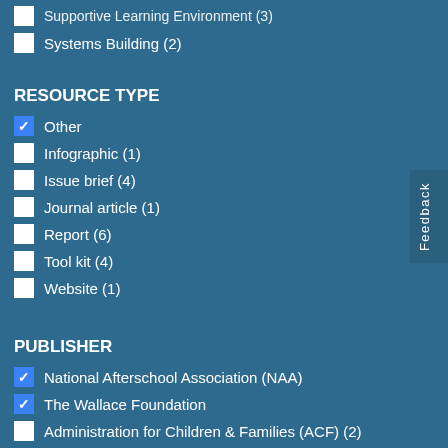Supportive Learning Environment (3)
Systems Building (2)
RESOURCE TYPE
Other [checked]
Infographic (1)
Issue brief (4)
Journal article (1)
Report (6)
Tool kit (4)
Website (1)
PUBLISHER
National Afterschool Association (NAA) [checked]
The Wallace Foundation [checked]
Administration for Children & Families (ACF) (2)
Afterschool Alliance (1)
Education Development Center (EDC) (1)
Kids Included Together (KIT) (1)